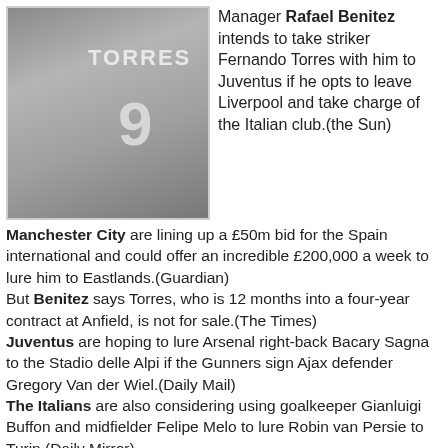[Figure (photo): Photo of manager Rafael Benitez and striker Fernando Torres wearing a grey jersey with number 9 and name TORRES on the back]
Manager Rafael Benitez intends to take striker Fernando Torres with him to Juventus if he opts to leave Liverpool and take charge of the Italian club.(the Sun)
Manchester City are lining up a £50m bid for the Spain international and could offer an incredible £200,000 a week to lure him to Eastlands.(Guardian)
But Benitez says Torres, who is 12 months into a four-year contract at Anfield, is not for sale.(The Times)
Juventus are hoping to lure Arsenal right-back Bacary Sagna to the Stadio delle Alpi if the Gunners sign Ajax defender Gregory Van der Wiel.(Daily Mail)
The Italians are also considering using goalkeeper Gianluigi Buffon and midfielder Felipe Melo to lure Robin van Persie to Turin.(Daily Mirror)
Meanwhile, the Gunners have joined a growing list of Premier League clubs interested in the signature of Everton